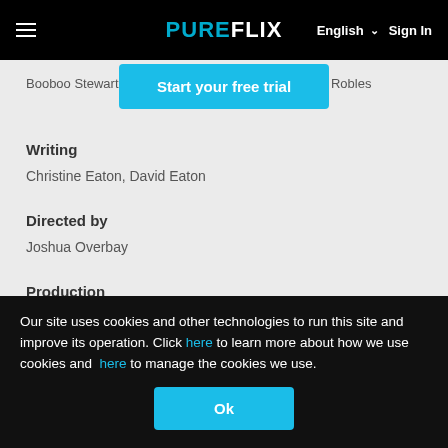PUREFLIX  English  Sign In
Booboo Stewart, Kevin Sorbo, Sam Sorbo, Rebecca Robles
[Figure (other): Start your free trial CTA button overlay]
Writing
Christine Eaton, David Eaton
Directed by
Joshua Overbay
Production
David Eaton, Christine Eaton, Isaac Stambaugh
Our site uses cookies and other technologies to run this site and improve its operation. Click here to learn more about how we use cookies and here to manage the cookies we use.
Ok